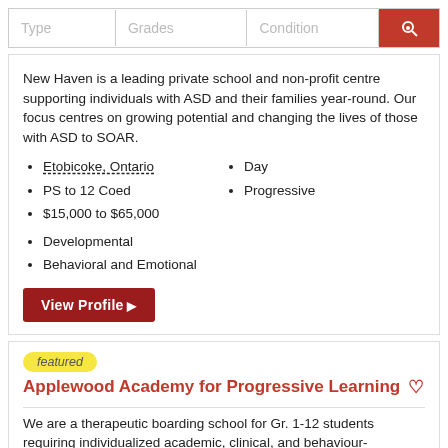| Type | Grades | Condition |
| --- | --- | --- |
New Haven is a leading private school and non-profit centre supporting individuals with ASD and their families year-round. Our focus centres on growing potential and changing the lives of those with ASD to SOAR.
Etobicoke, Ontario
PS to 12 Coed
$15,000 to $65,000
Day
Progressive
Developmental
Behavioral and Emotional
View Profile▶
featured
Applewood Academy for Progressive Learning
We are a therapeutic boarding school for Gr. 1-12 students requiring individualized academic, clinical, and behaviour-management solutions in small class sizes and professional home stay or boarding